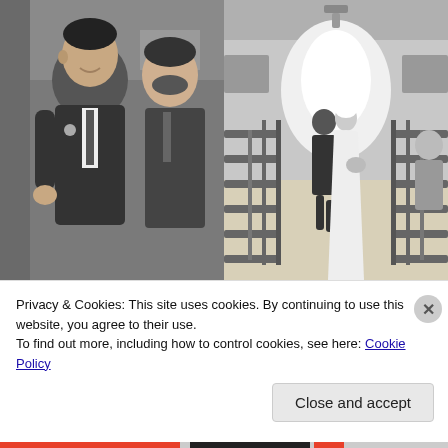[Figure (photo): Two men in suits at a wedding ceremony, black and white photo. The groom in foreground smiling, a groomsman behind him.]
[Figure (photo): Black and white photo of bride and groom walking down the aisle of a church, with pews on either side and light at the end of the hallway.]
Privacy & Cookies: This site uses cookies. By continuing to use this website, you agree to their use.
To find out more, including how to control cookies, see here: Cookie Policy
Close and accept